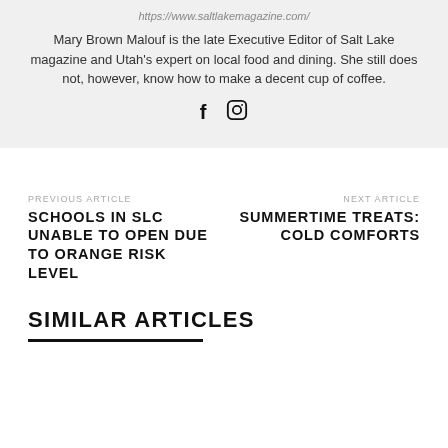https://www.saltlakemagazine.com/
Mary Brown Malouf is the late Executive Editor of Salt Lake magazine and Utah's expert on local food and dining. She still does not, however, know how to make a decent cup of coffee.
[Figure (other): Social media icons: Facebook (f) and Instagram camera icon]
PREVIOUS ARTICLE
SCHOOLS IN SLC UNABLE TO OPEN DUE TO ORANGE RISK LEVEL
NEXT ARTICLE
SUMMERTIME TREATS: COLD COMFORTS
SIMILAR ARTICLES